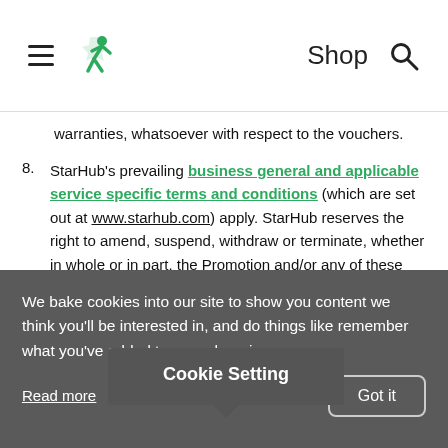StarHub — Shop [hamburger menu, logo, shop, search]
warranties, whatsoever with respect to the vouchers.
8. StarHub's prevailing business general and applicable service specific terms and conditions (which are set out at www.starhub.com) apply. StarHub reserves the right to amend, suspend, withdraw or terminate, whether in whole or in part, the Promotion and/or any of these terms and conditions without notice and at StarHub's absolute discretion.
9. Participation in t[Cookie Setting popup]l constitute
Cookie Setting
We bake cookies into our site to show you content we think you'll be interested in, and do things like remember what you've added to your shopping car...
Read more
Got it